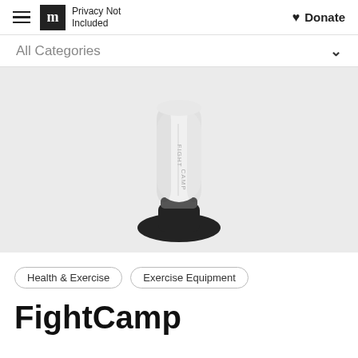m Privacy Not Included  Donate
All Categories
[Figure (photo): A white FightCamp punching bag on a round black base, photographed on a light gray background]
Health & Exercise
Exercise Equipment
FightCamp